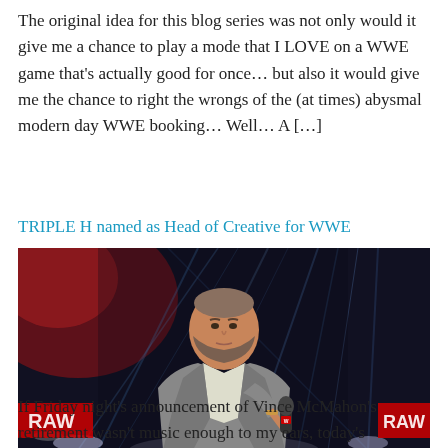The original idea for this blog series was not only would it give me a chance to play a mode that I LOVE on a WWE game that's actually good for once… but also it would give me the chance to right the wrongs of the (at times) abysmal modern day WWE booking… Well… A […]
TRIPLE H named as Head of Creative for WWE
[Figure (photo): Photo of Triple H (Paul Levesque) standing on a WWE RAW stage holding a microphone, wearing a grey blazer and white shirt, with blue stage lighting and red glow in the background. RAW logo visible on left and right edges.]
If Friday night's announcement of Vince McMahon's retirement wasn't music enough to my ears, today's